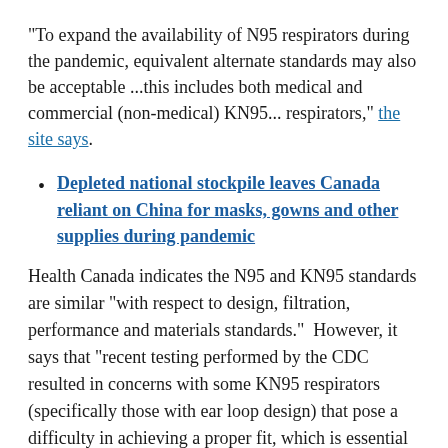"To expand the availability of N95 respirators during the pandemic, equivalent alternate standards may also be acceptable ...this includes both medical and commercial (non-medical) KN95... respirators," the site says.
Depleted national stockpile leaves Canada reliant on China for masks, gowns and other supplies during pandemic
Health Canada indicates the N95 and KN95 standards are similar "with respect to design, filtration, performance and materials standards."  However, it says that "recent testing performed by the CDC resulted in concerns with some KN95 respirators (specifically those with ear loop design) that pose a difficulty in achieving a proper fit, which is essential for